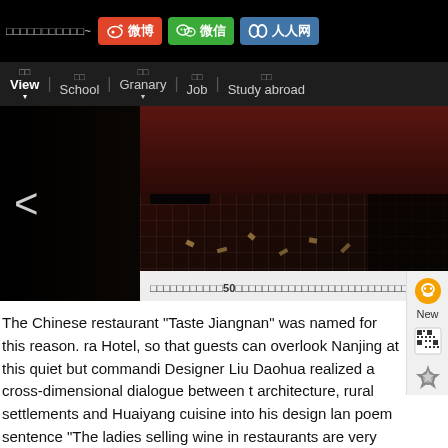□□□□□□□□□□□~ | 微博 | 微信 | 人人网
□□ View | □□ School | □□ Granary | □□ Job | □□ Study abroad
[Figure (photo): Interior of Chinese restaurant showing dark furniture on patterned carpet floor with scattered items]
□□□□□□□□□□□50□□□□□□□□□□□□□□□□□□□□□□□□□□□□□□□□□□□□□□□□□□□□□□□□
The Chinese restaurant "Taste Jiangnan" was named for this reason. ra Hotel, so that guests can overlook Nanjing at this quiet but commandi Designer Liu Daohua realized a cross-dimensional dialogue between t architecture, rural settlements and Huaiyang cuisine into his design lan poem sentence "The ladies selling wine in restaurants are very beautif sleeves".